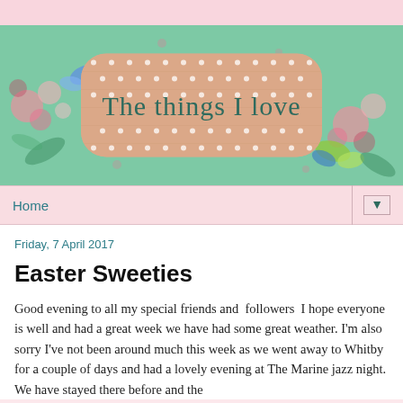[Figure (illustration): Blog header banner with mint green floral background, pink roses, butterflies, and a polka-dot pink label reading 'The things I love' in cursive script]
Home ▼
Friday, 7 April 2017
Easter Sweeties
Good evening to all my special friends and  followers  I hope everyone is well and had a great week we have had some great weather. I'm also sorry I've not been around much this week as we went away to Whitby for a couple of days and had a lovely evening at The Marine jazz night. We have stayed there before and the